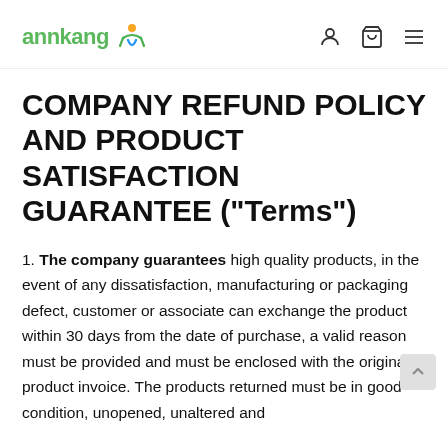annkang [logo with person icon] [user icon] [bag icon] [menu icon]
COMPANY REFUND POLICY AND PRODUCT SATISFACTION GUARANTEE ("Terms")
1. The company guarantees high quality products, in the event of any dissatisfaction, manufacturing or packaging defect, customer or associate can exchange the product within 30 days from the date of purchase, a valid reason must be provided and must be enclosed with the original product invoice. The products returned must be in good condition, unopened, unaltered and